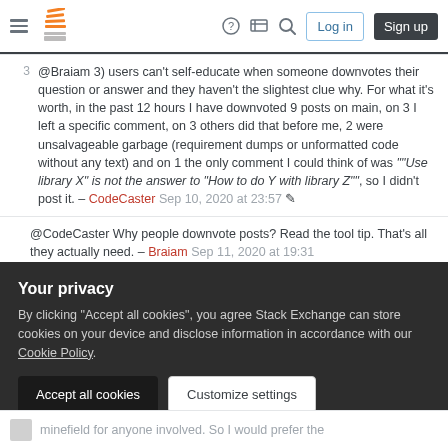Stack Exchange navigation bar with hamburger menu, logo, help, chat, search icons, Log in and Sign up buttons
@Braiam 3) users can't self-educate when someone downvotes their question or answer and they haven't the slightest clue why. For what it's worth, in the past 12 hours I have downvoted 9 posts on main, on 3 I left a specific comment, on 3 others did that before me, 2 were unsalvageable garbage (requirement dumps or unformatted code without any text) and on 1 the only comment I could think of was ""Use library X" is not the answer to "How to do Y with library Z"", so I didn't post it. – CodeCaster Sep 10, 2020 at 23:57
@CodeCaster Why people downvote posts? Read the tool tip. That's all they actually need. – Braiam Sep 11, 2020 at 19:31
Your privacy
By clicking "Accept all cookies", you agree Stack Exchange can store cookies on your device and disclose information in accordance with our Cookie Policy.
Accept all cookies
Customize settings
minefield for anyone involved. So I would prefer the